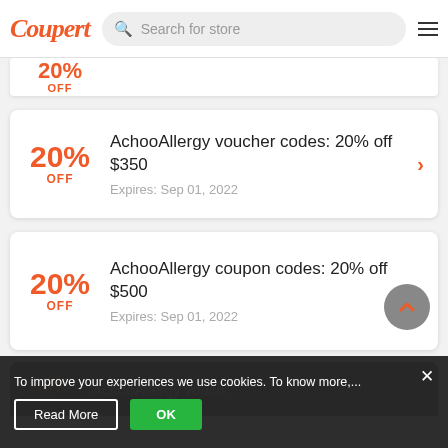Coupert | Search for store
20% OFF — AchooAllergy voucher codes: 20% off $350 | Expires: Sep 01, 2022
20% OFF — AchooAllergy coupon codes: 20% off $500 | Expires: Sep 01, 2022
To improve your experiences we use cookies. To know more,...
Read More | OK